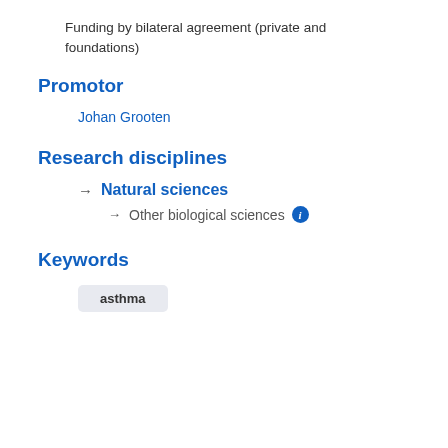Funding by bilateral agreement (private and foundations)
Promotor
Johan Grooten
Research disciplines
→ Natural sciences
→ Other biological sciences ℹ
Keywords
asthma